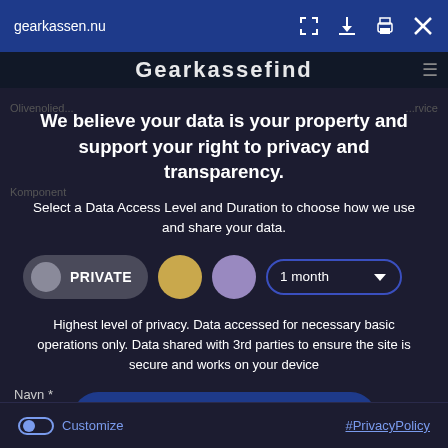gearkassen.nu
We believe your data is your property and support your right to privacy and transparency.
Select a Data Access Level and Duration to choose how we use and share your data.
[Figure (infographic): Privacy controls row: PRIVATE button with grey circle, gold circle icon, purple circle icon, and 1 month dropdown selector]
Highest level of privacy. Data accessed for necessary basic operations only. Data shared with 3rd parties to ensure the site is secure and works on your device
Save my preferences
Customize
#PrivacyPolicy